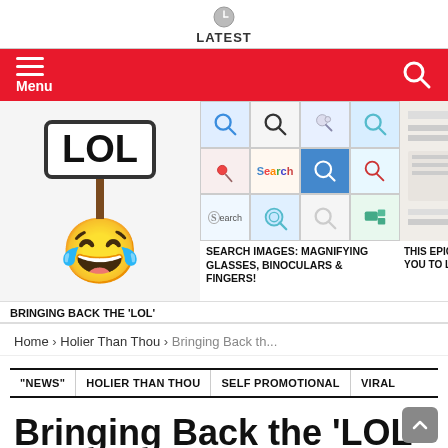LATEST
[Figure (screenshot): Red navigation bar with hamburger menu icon and Menu label on the left, search icon on the right]
[Figure (photo): LOL sign held by laughing emoji face illustration]
[Figure (photo): Grid of search/magnifying glass images and icons]
[Figure (photo): Partial image of document related to 'THIS EPIC... HELP YOU... TO LISTEN...']
BRINGING BACK THE 'LOL'
SEARCH IMAGES: MAGNIFYING GLASSES, BINOCULARS & FINGERS!
THIS EPIC HELP YOU TO LISTEN
Home › Holier Than Thou › Bringing Back th...
"NEWS"   HOLIER THAN THOU   SELF PROMOTIONAL   VIRAL
Bringing Back the 'LOL'